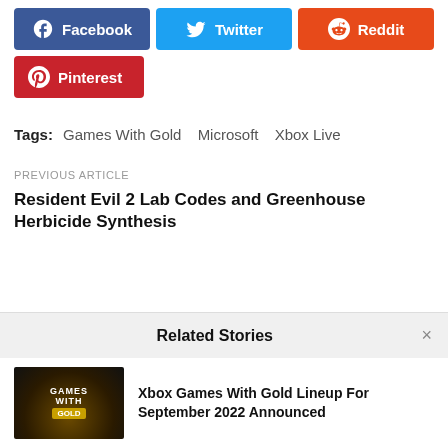[Figure (other): Social share buttons: Facebook (blue), Twitter (light blue), Reddit (orange-red), Pinterest (red)]
Tags: Games With Gold  Microsoft  Xbox Live
PREVIOUS ARTICLE
Resident Evil 2 Lab Codes and Greenhouse Herbicide Synthesis
Related Stories
Xbox Games With Gold Lineup For September 2022 Announced